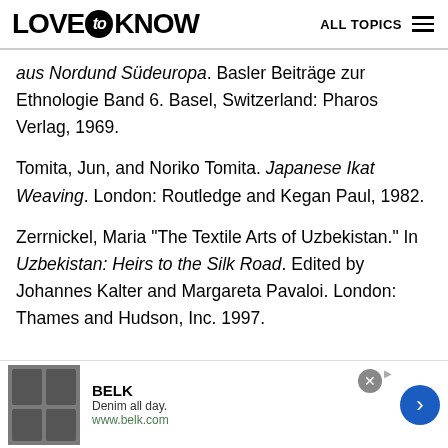LOVE to KNOW — ALL TOPICS
aus Nordund Südeuropa. Basler Beiträge zur Ethnologie Band 6. Basel, Switzerland: Pharos Verlag, 1969.
Tomita, Jun, and Noriko Tomita. Japanese Ikat Weaving. London: Routledge and Kegan Paul, 1982.
Zerrnickel, Maria "The Textile Arts of Uzbekistan." In Uzbekistan: Heirs to the Silk Road. Edited by Johannes Kalter and Margareta Pavaloi. London: Thames and Hudson, Inc. 1997.